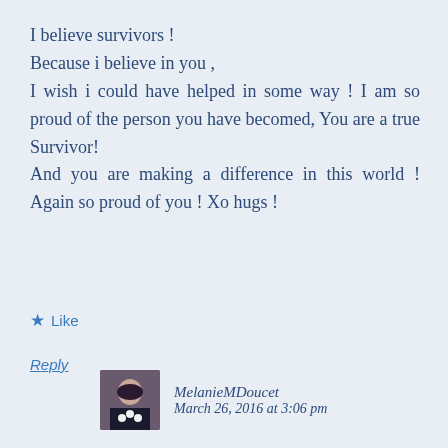I believe survivors !
Because i believe in you ,
I wish i could have helped in some way ! I am so proud of the person you have becomed, You are a true Survivor!
And you are making a difference in this world ! Again so proud of you ! Xo hugs !
★ Like
Reply
[Figure (photo): Small avatar photo of a woman with dark hair]
MelanieMDoucet
March 26, 2016 at 3:06 pm